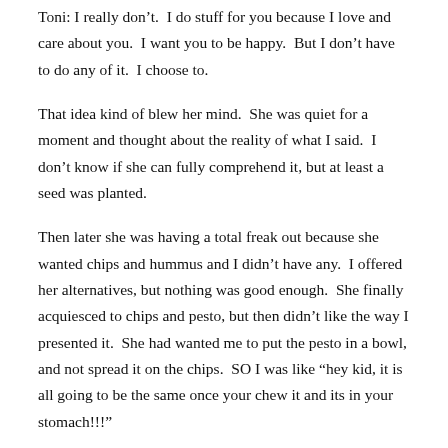Toni: I really don't.  I do stuff for you because I love and care about you.  I want you to be happy.  But I don't have to do any of it.  I choose to.
That idea kind of blew her mind.  She was quiet for a moment and thought about the reality of what I said.  I don't know if she can fully comprehend it, but at least a seed was planted.
Then later she was having a total freak out because she wanted chips and hummus and I didn't have any.  I offered her alternatives, but nothing was good enough.  She finally acquiesced to chips and pesto, but then didn't like the way I presented it.  She had wanted me to put the pesto in a bowl, and not spread it on the chips.  SO I was like “hey kid, it is all going to be the same once your chew it and its in your stomach!!!”
Toni: Munch, you can’t always have everything exactly they way